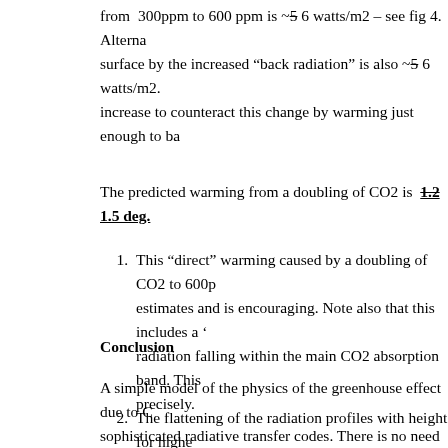from 300ppm to 600 ppm is ~5 6 watts/m2 – see fig 4. Alterna surface by the increased "back radiation" is also ~5 6 watts/m2. increase to counteract this change by warming just enough to ba
The predicted warming from a doubling of CO2 is 1.2 1.5 deg.
This "direct" warming caused by a doubling of CO2 to 600p estimates and is encouraging. Note also that this includes a ' radiation falling within the main CO2 absorption band. This precisely.
The flattening of the radiation profiles with height for highe the upper troposphere in line with more sophisticated model confirmed experimentally.
Conclusion
A simple model of the physics of the greenhouse effect due to C sophisticated radiative transfer codes. There is no need to calcu the shape of the radiation profile itself changes with CO2 levels